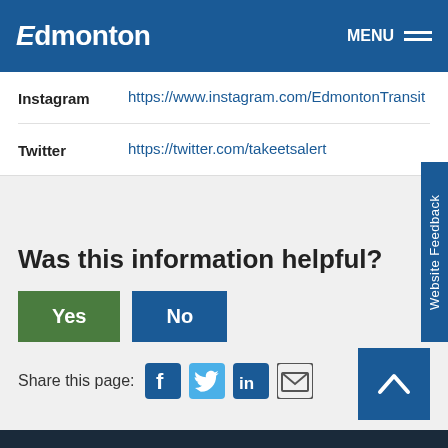Edmonton | MENU
| Platform | URL |
| --- | --- |
| Instagram | https://www.instagram.com/EdmontonTransit |
| Twitter | https://twitter.com/takeetsalert |
Was this information helpful?
Yes | No
Share this page:
Website Feedback